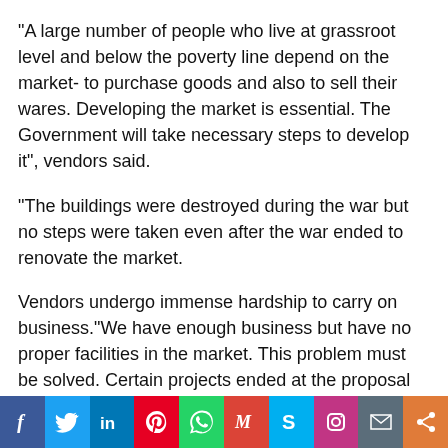“A large number of people who live at grassroot level and below the poverty line depend on the market- to purchase goods and also to sell their wares. Developing the market is essential. The Government will take necessary steps to develop it”, vendors said.
“The buildings were destroyed during the war but no steps were taken even after the war ended to renovate the market.
Vendors undergo immense hardship to carry on business.“We have enough business but have no proper facilities in the market. This problem must be solved. Certain projects ended at the proposal stage”, Rasadurai Vivekanandan said.
“We are confident that the new Government will extend support to renovate the market or take steps to construct buildings. Now vendors in the market do business in the open
[Figure (other): Social media sharing bar with icons: Facebook, Twitter, LinkedIn, Pinterest, WhatsApp, Gmail, Skype, Instagram, Email, Share]